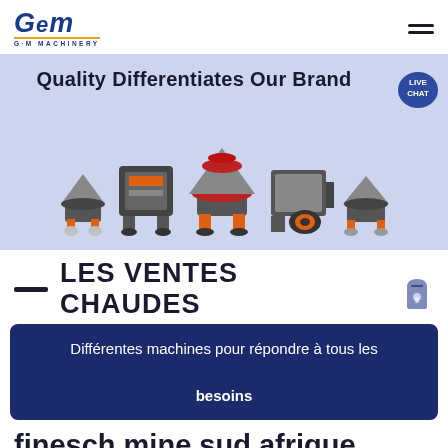[Figure (logo): GEM Machinery logo — blue italic GEM letters with orange underline and 'G·M MACHINERY' text below]
[Figure (screenshot): Website hero banner with light blue/lavender background showing 'Quality Differentiates Our Brand' headline, a LIVE CHAT badge top right, and a row of 5 heavy industrial crushing/mining machines]
LES VENTES CHAUDES
Différentes machines pour répondre à tous les besoins
finesch mine sud afrique